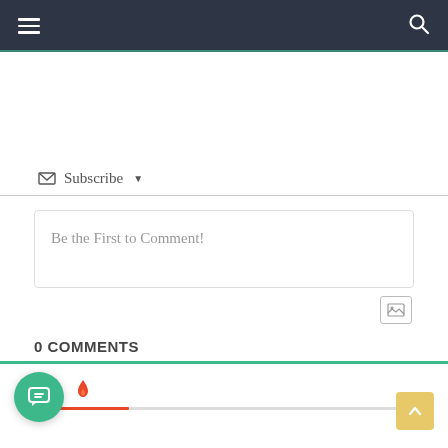Navigation bar with hamburger menu and search icon
Subscribe ▾
Be the First to Comment!
0 COMMENTS
[Figure (other): User icon (orange), fire icon (red), and a progress bar showing 0 comments. Chat button (teal circle) and scroll-to-top button (yellow square).]